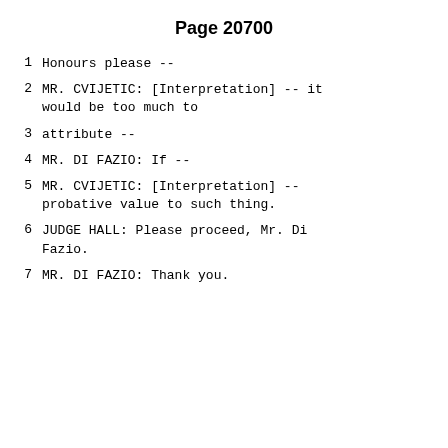Page 20700
1      Honours please --
2            MR. CVIJETIC: [Interpretation] -- it would be too much to
3      attribute --
4            MR. DI FAZIO:  If --
5            MR. CVIJETIC: [Interpretation] -- probative value to such thing.
6            JUDGE HALL:  Please proceed, Mr. Di Fazio.
7            MR. DI FAZIO:  Thank you.